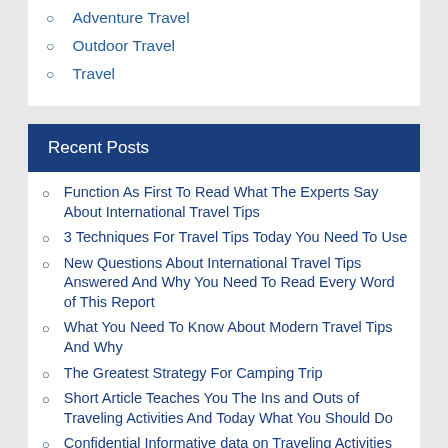Adventure Travel
Outdoor Travel
Travel
Recent Posts
Function As First To Read What The Experts Say About International Travel Tips
3 Techniques For Travel Tips Today You Need To Use
New Questions About International Travel Tips Answered And Why You Need To Read Every Word of This Report
What You Need To Know About Modern Travel Tips And Why
The Greatest Strategy For Camping Trip
Short Article Teaches You The Ins and Outs of Traveling Activities And Today What You Should Do
Confidential Informative data on Traveling Activities That Only The Experts Know Exist